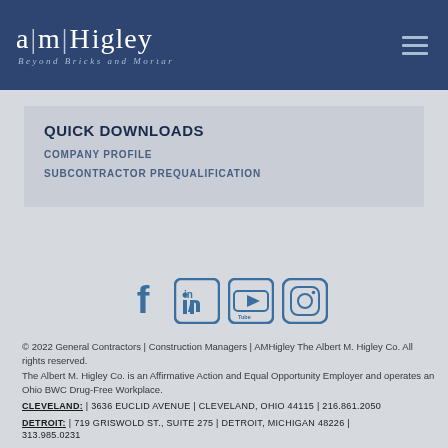[Figure (logo): AM Higley logo — 'a|m|Higley Beyond Bricks and Mortar' in white on dark navy header with hamburger menu icon]
QUICK DOWNLOADS
COMPANY PROFILE
SUBCONTRACTOR PREQUALIFICATION
[Figure (infographic): Social media icons: Facebook, LinkedIn, YouTube, Instagram]
© 2022 General Contractors | Construction Managers | AMHigley The Albert M. Higley Co. All rights reserved.
The Albert M. Higley Co. is an Affirmative Action and Equal Opportunity Employer and operates an Ohio BWC Drug-Free Workplace.
CLEVELAND: | 3636 EUCLID AVENUE | CLEVELAND, OHIO 44115 | 216.861.2050
DETROIT: | 719 GRISWOLD ST., SUITE 275 | DETROIT, MICHIGAN 48226 | 313.985.0231